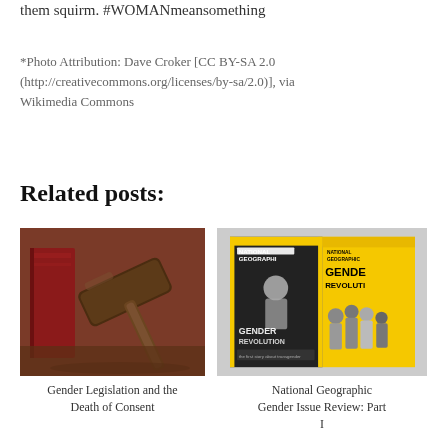them squirm. #WOMANmeansomething
*Photo Attribution: Dave Croker [CC BY-SA 2.0 (http://creativecommons.org/licenses/by-sa/2.0)], via Wikimedia Commons
Related posts:
[Figure (photo): Photo of a wooden gavel resting near a red book, representing legal or court themes]
Gender Legislation and the Death of Consent
[Figure (photo): Two National Geographic magazine covers featuring the Gender Revolution issue — one black and white, one yellow cover with group of people]
National Geographic Gender Issue Review: Part I